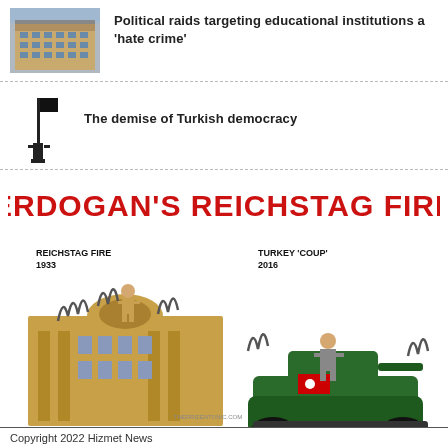[Figure (photo): Thumbnail photo of a building (educational institution exterior)]
Political raids targeting educational institutions a 'hate crime'
[Figure (photo): Thumbnail silhouette of a person with a flag]
The demise of Turkish democracy
[Figure (illustration): Political cartoon titled 'ERDOGAN'S REICHSTAG FIRE' comparing the 1933 Reichstag Fire with Hitler on a burning building to the Turkey 'Coup' 2016 with Erdogan on a tank. Caption reads 'Turkey Coup Attempt July 2016']
Copyright 2022 Hizmet News